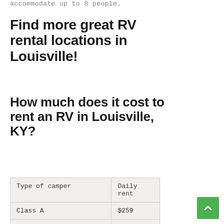accommodate up to 8 people.
Find more great RV rental locations in Louisville!
How much does it cost to rent an RV in Louisville, KY?
| Type of camper | Daily rent |
| --- | --- |
| Class A | $259 |
| Class B | $254 |
| Class C | $218 |
| Travelling camper | $128 |